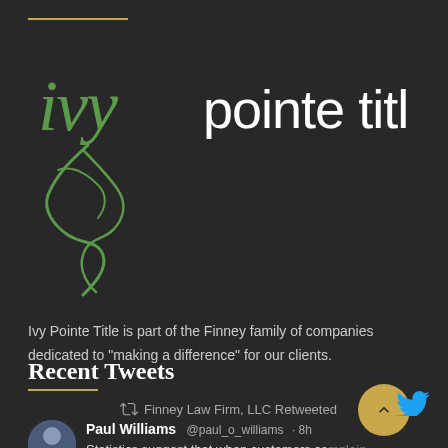[Figure (logo): Ivy Pointe Title logo with cursive 'ivy' in green and 'pointe title' in white sans-serif text, with a decorative green flourish below]
Ivy Pointe Title is part of the Finney family of companies dedicated to "making a difference" for our clients.
Recent Tweets
Finney Law Firm, LLC Retweeted
Paul Williams @paul_o_williams · 8h
Statistics suggest that when customers complain, business owners and managers ought to get excited about it. The complaining customer